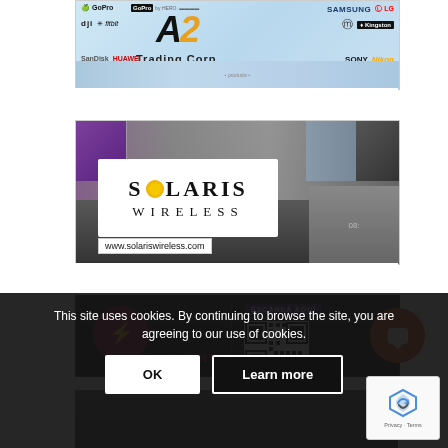[Figure (advertisement): A2 Trading Corp advertisement banner with brand logos: Apple, GoPro, DJI, fitbit, SanDisk, Huawei, Samsung, LG, Motorola, Kingston, Sony, Nikon and product images]
[Figure (advertisement): Solaris Wireless advertisement with logo showing stylized sun and text 'SOLARIS WIRELESS' with website www.solariswireless.com, background of various smartphones]
[Figure (advertisement): Dolphin branded advertisement with logo, vertical divider, QR code labeled 'ESCANEA AQUI', orange circle notification icon]
[Figure (other): Cookie consent banner with text 'This site uses cookies. By continuing to browse the site, you are agreeing to our use of cookies.' with OK and Learn more buttons, plus reCAPTCHA widget]